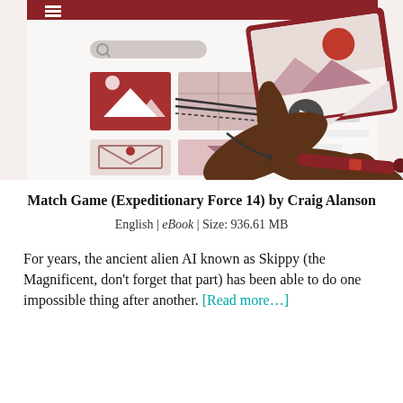[Figure (illustration): Digital illustration showing two dark-skinned hands interacting with a UI screen/tablet. The screen shows a website layout with image thumbnails, icons, and UI elements in red/pink/gray tones. One hand points at the screen while the other holds a stylus or pen device. A video play button is visible on a landscape photo with mountains and a red sun.]
Match Game (Expeditionary Force 14) by Craig Alanson
English | eBook | Size: 936.61 MB
For years, the ancient alien AI known as Skippy (the Magnificent, don't forget that part) has been able to do one impossible thing after another. [Read more...]